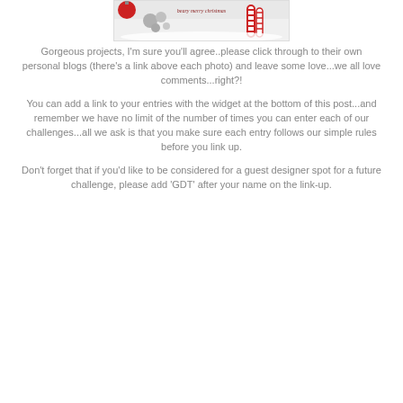[Figure (photo): Christmas themed photo with candy canes, silver decorations, and text 'beary merry christmas']
Gorgeous projects, I'm sure you'll agree..please click through to their own personal blogs (there's a link above each photo) and leave some love...we all love comments...right?!
You can add a link to your entries with the widget at the bottom of this post...and remember we have no limit of the number of times you can enter each of our challenges...all we ask is that you make sure each entry follows our simple rules before you link up.
Don't forget that if you'd like to be considered for a guest designer spot for a future challenge, please add 'GDT' after your name on the link-up.